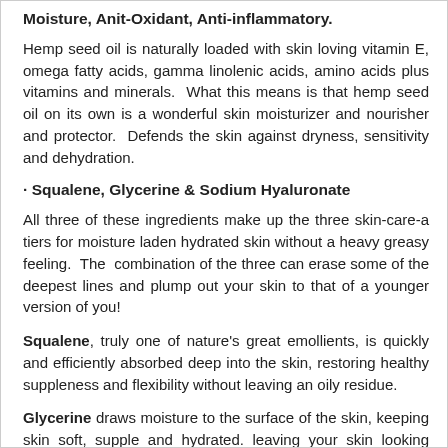Moisture, Anit-Oxidant, Anti-inflammatory.
Hemp seed oil is naturally loaded with skin loving vitamin E, omega fatty acids, gamma linolenic acids, amino acids plus vitamins and minerals.  What this means is that hemp seed oil on its own is a wonderful skin moisturizer and nourisher and protector.  Defends the skin against dryness, sensitivity and dehydration.
· Squalene, Glycerine & Sodium Hyaluronate
All three of these ingredients make up the three skin-care-a tiers for moisture laden hydrated skin without a heavy greasy feeling.  The combination of the three can erase some of the deepest lines and plump out your skin to that of a younger version of you!
Squalene, truly one of nature's great emollients, is quickly and efficiently absorbed deep into the skin, restoring healthy suppleness and flexibility without leaving an oily residue.
Glycerine draws moisture to the surface of the skin, keeping skin soft, supple and hydrated. leaving your skin looking plump and youthful.  Plus, glycerine helps shield